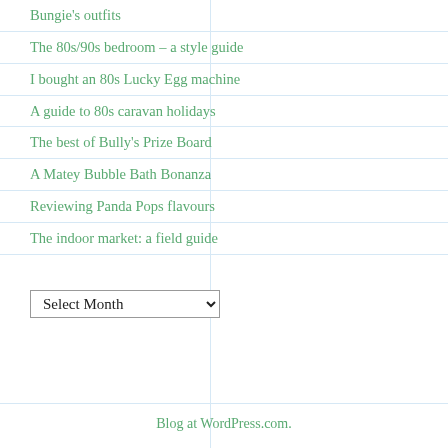Bungie's outfits
The 80s/90s bedroom – a style guide
I bought an 80s Lucky Egg machine
A guide to 80s caravan holidays
The best of Bully's Prize Board
A Matey Bubble Bath Bonanza
Reviewing Panda Pops flavours
The indoor market: a field guide
Select Month
Blog at WordPress.com.